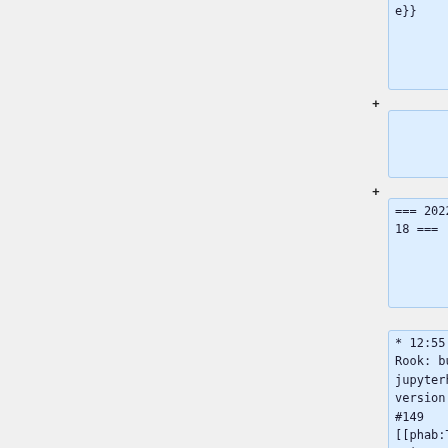96ec5b00129fe}}
+
=== 2022-05-18 ===
* 12:55 Rook: bump jupyterhub version #149 [[phab:T308568|T308568]]

{{Gerrit|41f03a5440413181fad479b32ae46ac9e816a55}}
* 11:10